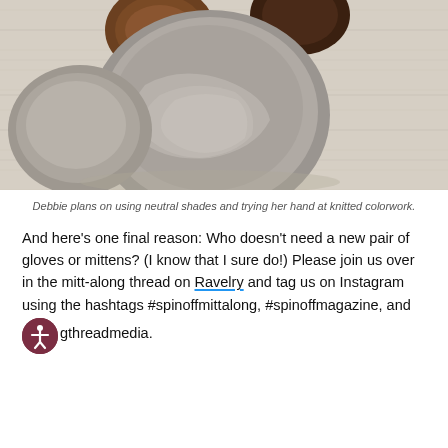[Figure (photo): Several balls of wool roving in neutral shades of gray, taupe, and brown arranged on a light wooden surface, viewed from above.]
Debbie plans on using neutral shades and trying her hand at knitted colorwork.
And here’s one final reason: Who doesn’t need a new pair of gloves or mittens? (I know that I sure do!) Please join us over in the mitt-along thread on Ravelry and tag us on Instagram using the hashtags #spinoffmittalong, #spinoffmagazine, and #longthreadmedia.